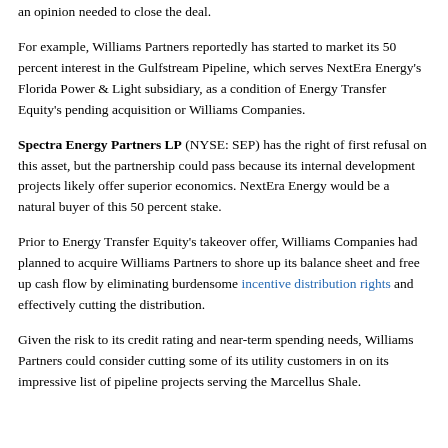an opinion needed to close the deal.
For example, Williams Partners reportedly has started to market its 50 percent interest in the Gulfstream Pipeline, which serves NextEra Energy's Florida Power & Light subsidiary, as a condition of Energy Transfer Equity's pending acquisition or Williams Companies.
Spectra Energy Partners LP (NYSE: SEP) has the right of first refusal on this asset, but the partnership could pass because its internal development projects likely offer superior economics. NextEra Energy would be a natural buyer of this 50 percent stake.
Prior to Energy Transfer Equity's takeover offer, Williams Companies had planned to acquire Williams Partners to shore up its balance sheet and free up cash flow by eliminating burdensome incentive distribution rights and effectively cutting the distribution.
Given the risk to its credit rating and near-term spending needs, Williams Partners could consider cutting some of its utility customers in on its impressive list of pipeline projects serving the Marcellus Shale.